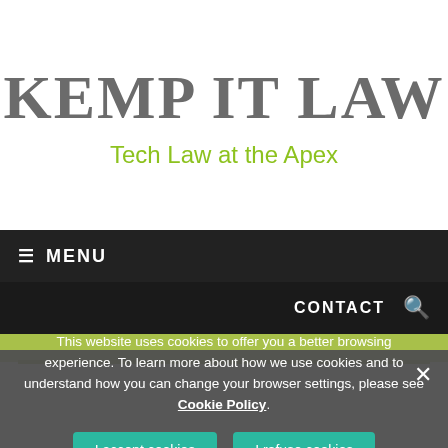KEMP IT LAW
Tech Law at the Apex
≡ MENU
CONTACT 🔍
This website uses cookies to offer you a better browsing experience. To learn more about how we use cookies and to understand how you can change your browser settings, please see Cookie Policy.
I accept cookies | I refuse cookies